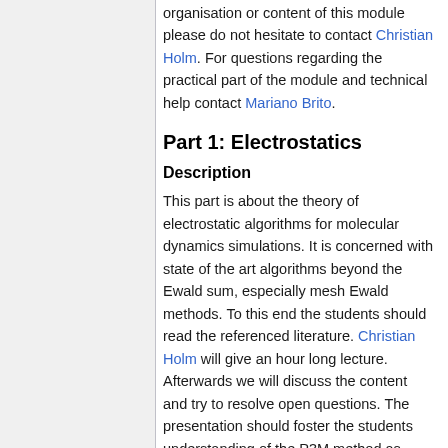organisation or content of this module please do not hesitate to contact Christian Holm. For questions regarding the practical part of the module and technical help contact Mariano Brito.
Part 1: Electrostatics
Description
This part is about the theory of electrostatic algorithms for molecular dynamics simulations. It is concerned with state of the art algorithms beyond the Ewald sum, especially mesh Ewald methods. To this end the students should read the referenced literature. Christian Holm will give an hour long lecture. Afterwards we will discuss the content and try to resolve open questions. The presentation should foster the students understanding of the P3M method as